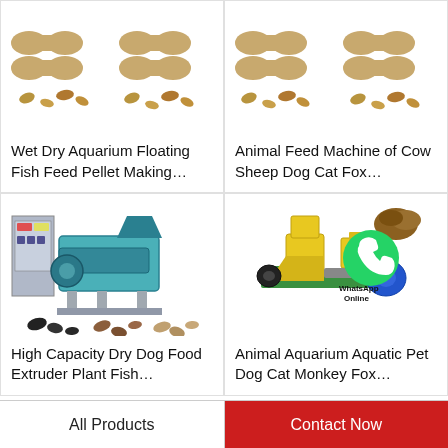[Figure (photo): Bone-shaped pet food pellets and scattered pellets - top left product image]
Wet Dry Aquarium Floating Fish Feed Pellet Making…
[Figure (photo): Bone-shaped pet food pellets and scattered pellets - top right product image]
Animal Feed Machine of Cow Sheep Dog Cat Fox…
[Figure (photo): Large industrial fish feed extruder plant machine with scattered pellets below]
High Capacity Dry Dog Food Extruder Plant Fish…
[Figure (photo): Yellow and green pet feed machine with WhatsApp Online logo overlay and pellets]
Animal Aquarium Aquatic Pet Dog Cat Monkey Fox…
All Products
Contact Now